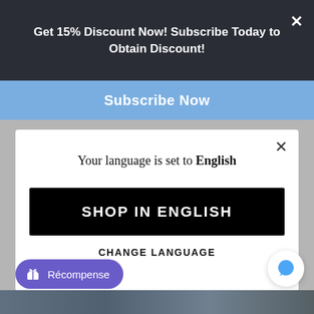Get 15% Discount Now! Subscribe Today to Obtain Discount!
Subscribe Now
Your language is set to English
SHOP IN ENGLISH
CHANGE LANGUAGE
Récompense